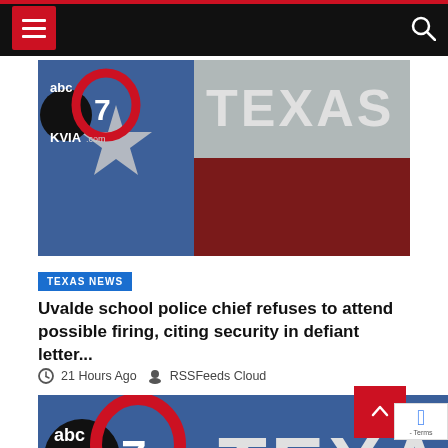Navigation bar with hamburger menu and search icon
[Figure (photo): ABC 7 KVIA.com Texas flag logo on a brick wall showing Texas flag colors — blue on left with star, white and red on right, with TEXAS text]
TEXAS NEWS
Uvalde school police chief refuses to attend possible firing, citing security in defiant letter...
21 Hours Ago  RSSFeeds Cloud
[Figure (photo): ABC 7 KVIA Texas logo partial view at bottom of page]